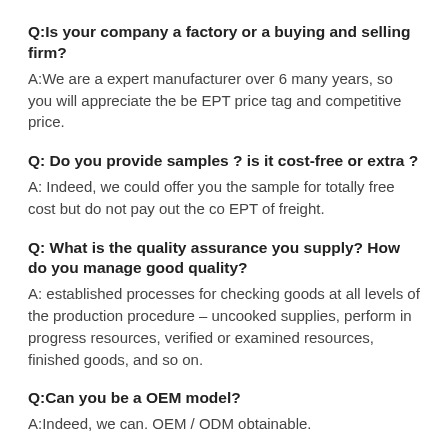Q:Is your company a factory or a buying and selling firm?
A:We are a expert manufacturer over 6 many years, so you will appreciate the be EPT price tag and competitive price.
Q: Do you provide samples ? is it cost-free or extra ?
A: Indeed, we could offer you the sample for totally free cost but do not pay out the co EPT of freight.
Q: What is the quality assurance you supply? How do you manage good quality?
A: established processes for checking goods at all levels of the production procedure – uncooked supplies, perform in progress resources, verified or examined resources, finished goods, and so on.
Q:Can you be a OEM model?
A:Indeed, we can. OEM / ODM obtainable.